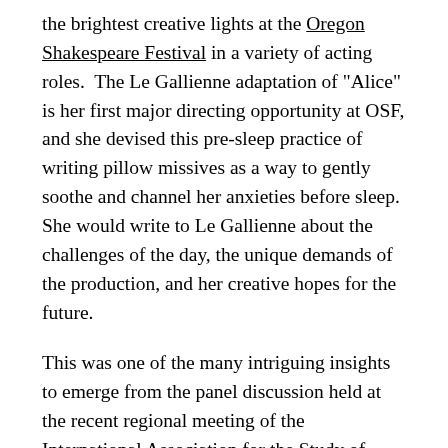the brightest creative lights at the Oregon Shakespeare Festival in a variety of acting roles. The Le Gallienne adaptation of "Alice" is her first major directing opportunity at OSF, and she devised this pre-sleep practice of writing pillow missives as a way to gently soothe and channel her anxieties before sleep. She would write to Le Gallienne about the challenges of the day, the unique demands of the production, and her creative hopes for the future.
This was one of the many intriguing insights to emerge from the panel discussion held at the recent regional meeting of the International Association for the Study of Dreams in Ashland, Oregon, May 31 to June 2. The panel was on Sunday morning and feature an ideal line-up: Sara, the director; Emily Ota, the actor who performs as Alice; and Amrita Ramanan, the director of literary development and dramaturgy at OSF who helps Sara and